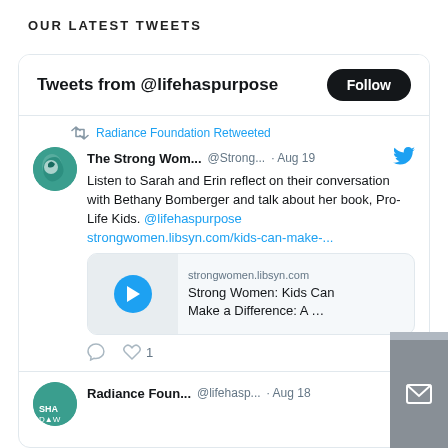OUR LATEST TWEETS
Tweets from @lifehaspurpose
Radiance Foundation Retweeted
The Strong Wom... @Strong... · Aug 19
Listen to Sarah and Erin reflect on their conversation with Bethany Bomberger and talk about her book, Pro-Life Kids. @lifehaspurpose strongwomen.libsyn.com/kids-can-make-...
[Figure (screenshot): Media card for strongwomen.libsyn.com showing 'Strong Women: Kids Can Make a Difference: A ...' with play button]
1
Radiance Foun... @lifehasp... · Aug 18